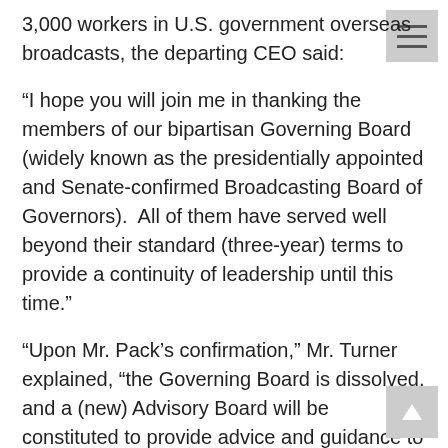3,000 workers in U.S. government overseas broadcasts, the departing CEO said:
“I hope you will join me in thanking the members of our bipartisan Governing Board (widely known as the presidentially appointed and Senate-confirmed Broadcasting Board of Governors).  All of them have served well beyond their standard (three-year) terms to provide a continuity of leadership until this time.”
“Upon Mr. Pack’s confirmation,” Mr. Turner explained, “the Governing Board is dissolved, and a (new) Advisory Board will be constituted to provide advice and guidance to the (new) CEO.”  That Advisory Board’s membership still remains to be determined.
(VOA is the largest of the five multimedia U.S. federally-funded overseas networks. Others are: Radio Free Europe/Radio Liberty, Radio Free Asia, the Middle East Broadcast Network in Arabic and Radio-TV Marti in Spanish